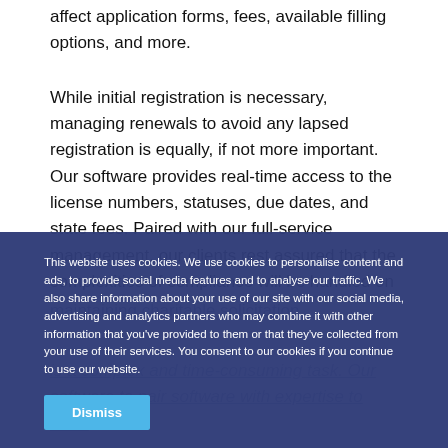affect application forms, fees, available filling options, and more.
While initial registration is necessary, managing renewals to avoid any lapsed registration is equally, if not more important. Our software provides real-time access to the license numbers, statuses, due dates, and state fees. Paired with our full-service management, our clients rest assured that the complexities of compliance will be handled on
This website uses cookies. We use cookies to personalise content and ads, to provide social media features and to analyse our traffic. We also share information about your use of our site with our social media, advertising and analytics partners who may combine it with other information that you've provided to them or that they've collected from your use of their services. You consent to our cookies if you continue to use our website.
Dismiss